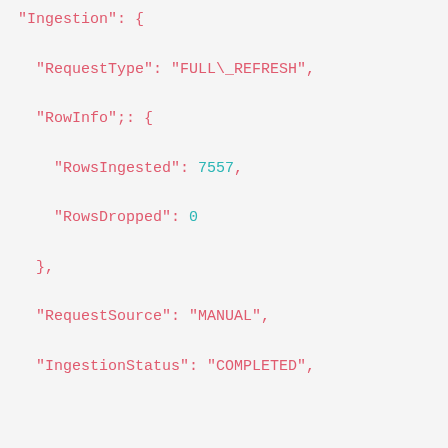code block showing JSON ingestion data with keys: Ingestion, RequestType: FULL\_REFRESH, RowInfo, RowsIngested: 7557, RowsDropped: 0, RequestSource: MANUAL, IngestionStatus: COMPLETED, CreatedTime, IngestionTimeInSeconds, ErrorInfo, IngestionType, Arn: arn:aws:quicksight:us-west-2:948209231917:dataset/positions/ingestion/airasia\_positionex_5881b013-e008-4599-83fd-b3e51a6aefd5
[Figure (screenshot): Cookie policy modal dialog overlaid on a code/JSON view. The dialog has a dark gray background, title 'Cookie policy', descriptive text about cookie usage with a 'Learn more about our cookies.' link, two buttons: 'ACCEPT COOKIES' (blue) and 'DENY ALL' (white), and a 'Cookie settings' link at the bottom.]